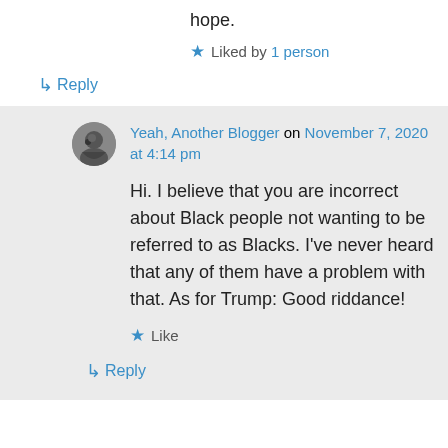hope.
★ Liked by 1 person
↳ Reply
Yeah, Another Blogger on November 7, 2020 at 4:14 pm
Hi. I believe that you are incorrect about Black people not wanting to be referred to as Blacks. I've never heard that any of them have a problem with that. As for Trump: Good riddance!
★ Like
↳ Reply